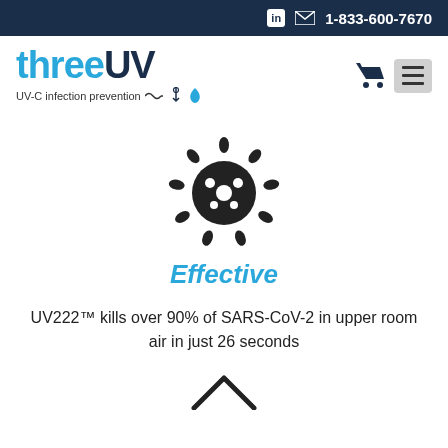in  1-833-600-7670
[Figure (logo): threeUV logo with tagline: UV-C infection prevention]
[Figure (illustration): Black virus/coronavirus icon illustration]
Effective
UV222™ kills over 90% of SARS-CoV-2 in upper room air in just 26 seconds
[Figure (illustration): Partial icon at bottom of page (UV lamp shape)]